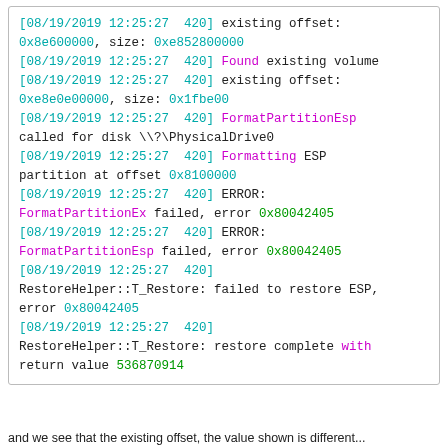[Figure (screenshot): Log output terminal/console showing timestamped debug messages with colored tokens. Messages relate to FormatPartitionEsp, FormatPartitionEx, and RestoreHelper::T_Restore operations on 08/19/2019 at 12:25:27 with thread id 420, showing error code 0x80042405.]
and we see that the existing offset, the value shown is different...